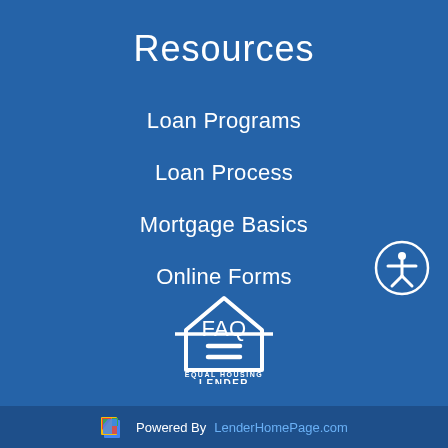Resources
Loan Programs
Loan Process
Mortgage Basics
Online Forms
FAQ
[Figure (logo): Accessibility icon: person with arms and legs outstretched in a circle, white on transparent, positioned at right side]
[Figure (logo): Equal Housing Lender logo: white house outline with equals sign inside, text EQUAL HOUSING LENDER below]
[Figure (logo): LenderHomePage.com colorful page icon logo]
Powered By LenderHomePage.com